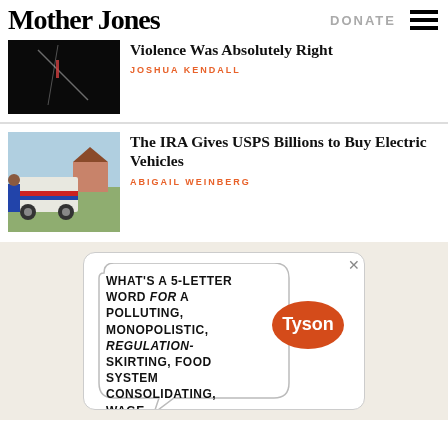Mother Jones | DONATE ☰
Violence Was Absolutely Right
JOSHUA KENDALL
The IRA Gives USPS Billions to Buy Electric Vehicles
ABIGAIL WEINBERG
[Figure (illustration): Ad: cartoon speech bubble with text 'WHAT'S A 5-LETTER WORD FOR A POLLUTING, MONOPOLISTIC, REGULATION-SKIRTING, FOOD SYSTEM CONSOLIDATING, WAGE...' with Tyson logo]
What's a 5-letter word for a polluting, monopolistic, regulation-skirting, food system consolidating, wage...